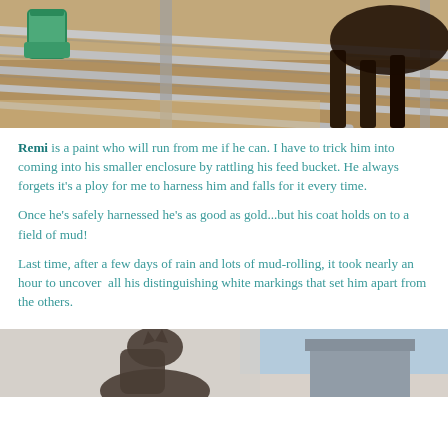[Figure (photo): Close-up photo of a horse behind metal fence rails with sandy ground and a green bucket visible, shot in bright sunlight.]
Remi is a paint who will run from me if he can.  I have to trick him into coming into his smaller enclosure by rattling his feed bucket.  He always forgets it's a ploy for me to harness him and falls for it every time.
Once he's safely harnessed he's as good as gold...but his coat holds on to a field of mud!
Last time, after a few days of rain and lots of mud-rolling, it took nearly an hour to uncover  all his distinguishing white markings that set him apart from the others.
[Figure (photo): Misty outdoor photo showing a horse's head and neck silhouette with a barn/building and blue sky in the background.]